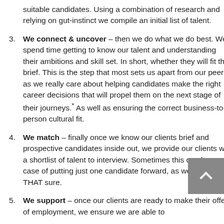suitable candidates. Using a combination of research and relying on gut-instinct we compile an initial list of talent.
3. We connect & uncover – then we do what we do best. We spend time getting to know our talent and understanding their ambitions and skill set. In short, whether they will fit the brief. This is the step that most sets us apart from our peers as we really care about helping candidates make the right career decisions that will propel them on the next stage of their journeys.* As well as ensuring the correct business-to-person cultural fit.
4. We match – finally once we know our clients brief and prospective candidates inside out, we provide our clients with a shortlist of talent to interview. Sometimes this can be a case of putting just one candidate forward, as we can be THAT sure.
5. We support – once our clients are ready to make their offers of employment, we ensure we are able to